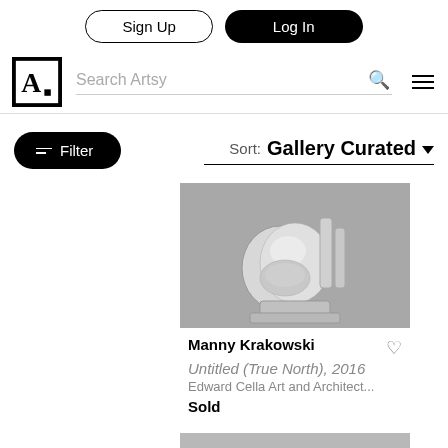Sign Up | Log In
[Figure (screenshot): Artsy website navigation bar with logo, Search Artsy input, search icon, and hamburger menu]
Filter  |  Sort: Gallery Curated ▼
[Figure (photo): Photograph of a silver metallic sculpture - Manny Krakowski, Untitled (True North), 2016]
Manny Krakowski
Untitled (True North), 2016
Edward Cella Art and Architect...
Sold
[Figure (photo): Photograph of another silver metallic sculpture, partially visible at bottom of page]